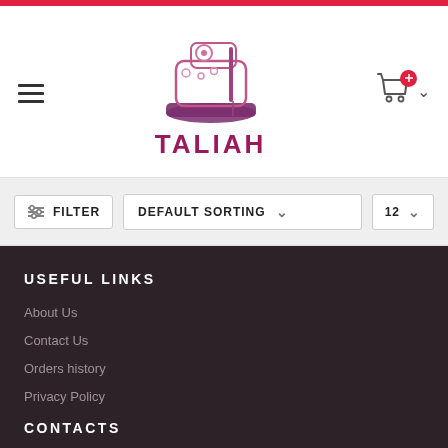[Figure (logo): Taliah brand logo with sewing machine illustration and purple/pink brand name text]
FILTER
DEFAULT SORTING
12
USEFUL LINKS
About Us
Contact Us
Orders history
Privacy Policy
CONTACTS
ADDRESS: